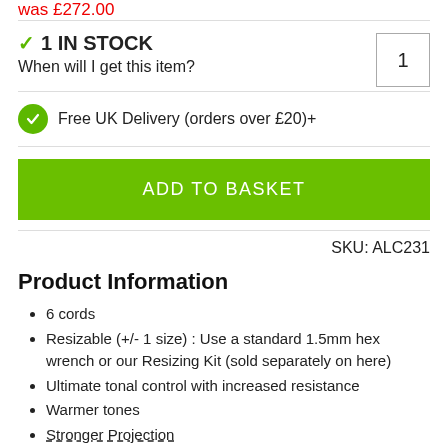was £272.00
✓ 1 IN STOCK
When will I get this item?
Free UK Delivery (orders over £20)+
ADD TO BASKET
SKU: ALC231
Product Information
6 cords
Resizable (+/- 1 size) : Use a standard 1.5mm hex wrench or our Resizing Kit (sold separately on here)
Ultimate tonal control with increased resistance
Warmer tones
Stronger Projection